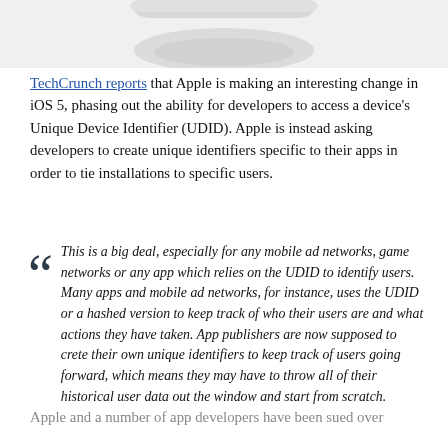[Figure (photo): Cropped top portion of a mobile phone image with a grey shadow/reflection below it on a light grey background]
TechCrunch reports that Apple is making an interesting change in iOS 5, phasing out the ability for developers to access a device's Unique Device Identifier (UDID). Apple is instead asking developers to create unique identifiers specific to their apps in order to tie installations to specific users.
This is a big deal, especially for any mobile ad networks, game networks or any app which relies on the UDID to identify users. Many apps and mobile ad networks, for instance, uses the UDID or a hashed version to keep track of who their users are and what actions they have taken. App publishers are now supposed to crete their own unique identifiers to keep track of users going forward, which means they may have to throw all of their historical user data out the window and start from scratch.
Apple and a number of app developers have been sued over